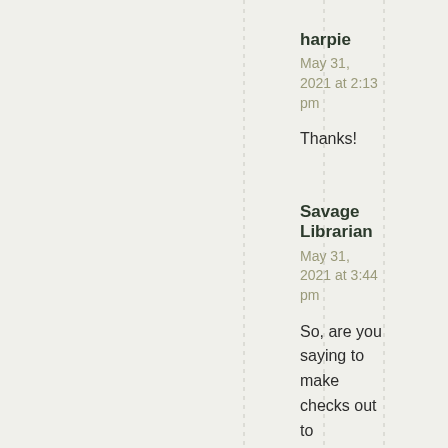harpie
May 31, 2021 at 2:13 pm
Thanks!
Savage Librarian
May 31, 2021 at 3:44 pm
So, are you saying to make checks out to